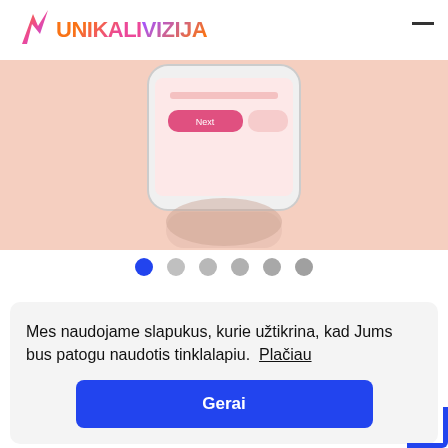UNIKALIVIZIJA
[Figure (screenshot): Smartphone displaying a pink/salmon-colored app screen with a pink button, shown with a reflection below, on a peach/salmon background.]
[Figure (infographic): Carousel navigation dots: one filled blue dot (active) followed by five grey dots.]
Mes naudojame slapukus, kurie užtikrina, kad Jums bus patogu naudotis tinklalapiu. Plačiau
Gerai